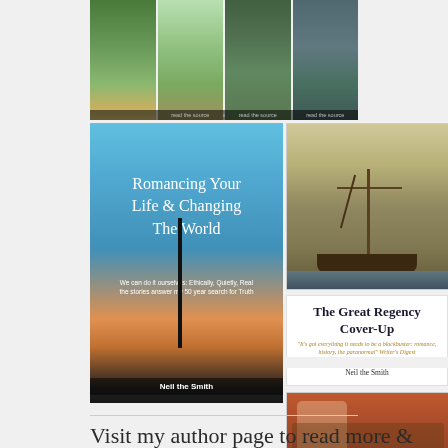[Figure (photo): Row of four small photos showing outdoor/nature scenes with caption labels]
[Figure (photo): Book cover: 'Romancing Your Life & Changing The World' by Neil the Smith, showing sunset ocean with a pole in water]
[Figure (photo): Book cover image: tall ship mast against foggy/muted background]
The Great Regency Cover-Up
"It's got everything it needs to be a blockbuster: romance, history, the paranormal" Writer's Digest
Neil the Smith
[Figure (photo): Painting of people in a rowboat on stormy water]
Visit my author page to read more & order